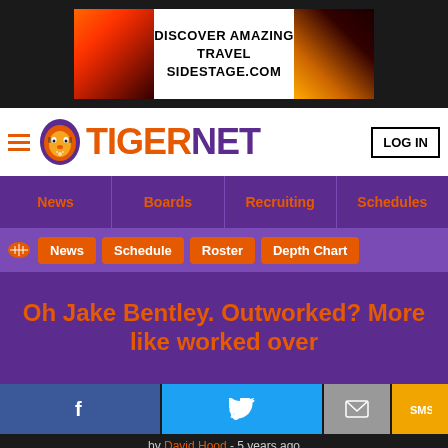[Figure (screenshot): Advertisement banner: DISCOVER AMAZING TRAVEL SIDESTAGE.COM with sunset/landscape photos on sides]
[Figure (logo): TigerNet website logo with tiger mascot icon, hamburger menu, and LOG IN button]
News | Boards | Recruiting | Schedules
News | Schedule | Roster | Depth Chart
Oh Jake Bentley. Outworked? More like worked over
by David Hood - 5 years ago
[Figure (photo): Football action photo showing Clemson players in orange uniforms, number 10, in a tackle or scramble play]